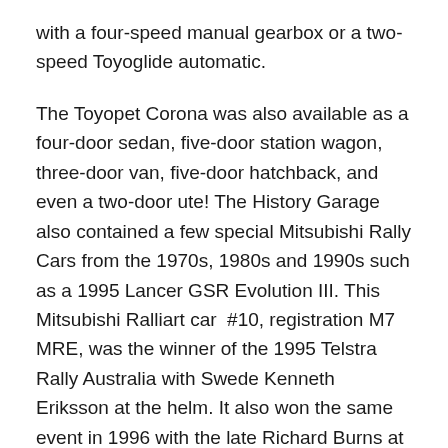with a four-speed manual gearbox or a two-speed Toyoglide automatic.
The Toyopet Corona was also available as a four-door sedan, five-door station wagon, three-door van, five-door hatchback, and even a two-door ute! The History Garage also contained a few special Mitsubishi Rally Cars from the 1970s, 1980s and 1990s such as a 1995 Lancer GSR Evolution III. This Mitsubishi Ralliart car  #10, registration M7 MRE, was the winner of the 1995 Telstra Rally Australia with Swede Kenneth Eriksson at the helm. It also won the same event in 1996 with the late Richard Burns at the wheel.
Didier Auriol took the same car to victory at the Rally Italy – San Remo in October 1996, but then Burns crashed out a month later in the Spanish event – Rally